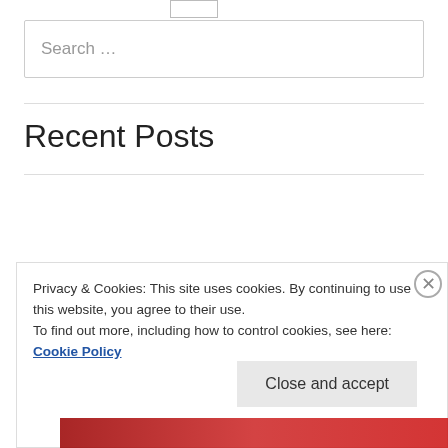Search …
Recent Posts
Rapha Classic and Explore Shoes
Galibier Barrier Gloves and Thermo+ Skull Cap
Privacy & Cookies: This site uses cookies. By continuing to use this website, you agree to their use.
To find out more, including how to control cookies, see here: Cookie Policy
Close and accept